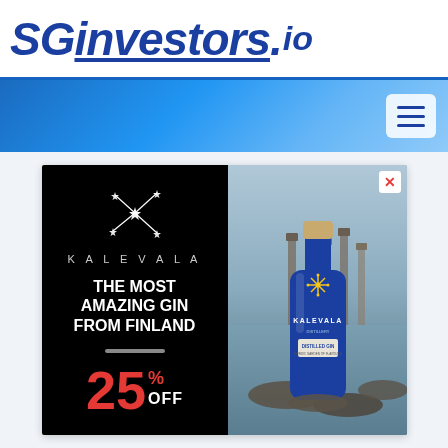SGinvestors.io
[Figure (screenshot): Blue navigation bar with hamburger menu button on the right]
[Figure (illustration): Advertisement for Kalevala Distilled Gin from Finland. Left panel: black background with star constellation logo, brand name KALEVALA, tagline THE MOST AMAZING GIN FROM FINLAND, 25% OFF promotion. Right panel: photo of Kalevala Distilled Gin bottle against rocky waterfront background.]